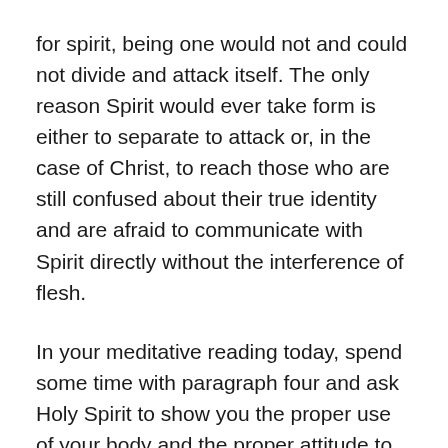for spirit, being one would not and could not divide and attack itself. The only reason Spirit would ever take form is either to separate to attack or, in the case of Christ, to reach those who are still confused about their true identity and are afraid to communicate with Spirit directly without the interference of flesh.
In your meditative reading today, spend some time with paragraph four and ask Holy Spirit to show you the proper use of your body and the proper attitude to take toward the bodies of others. The more advanced we become as teachers of God the more we recognize that we are Spirits, not flesh. The puny, selfish, temporal pleasures of the flesh lose their hold upon us as we become Christ and as Christ becomes us. Our bodies serve only as channels through which God's Voice